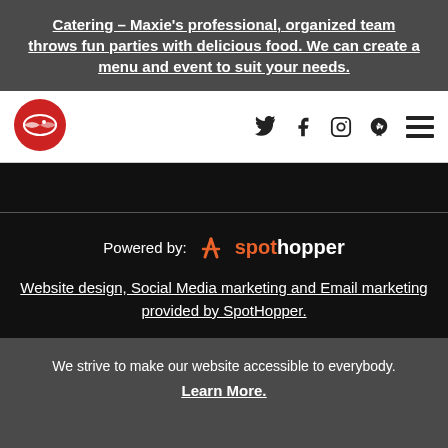Catering – Maxie's professional, organized team throws fun parties with delicious food. We can create a menu and event to suit your needs.
[Figure (logo): Maxie's restaurant logo: red circle with white fish icon]
Powered by: SpotHopper
Website design, Social Media marketing and Email marketing provided by SpotHopper.
We strive to make our website accessible to everybody.
Learn More.